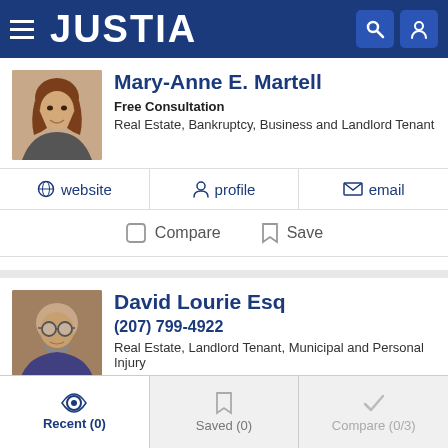JUSTIA
Mary-Anne E. Martell
Free Consultation
Real Estate, Bankruptcy, Business and Landlord Tenant
website | profile | email
Compare | Save
David Lourie Esq
(207) 799-4922
Real Estate, Landlord Tenant, Municipal and Personal Injury
website | profile | email
Compare | Save
Recent (0) | Saved (0) | Compare (0/3)